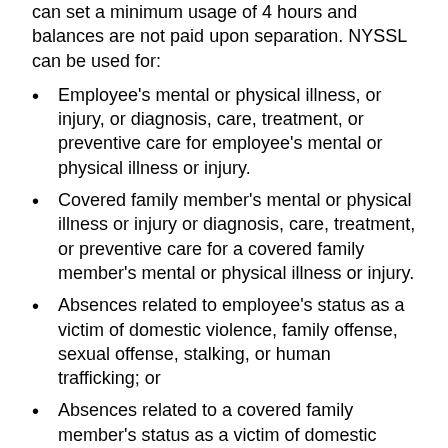can set a minimum usage of 4 hours and balances are not paid upon separation. NYSSL can be used for:
Employee's mental or physical illness, or injury, or diagnosis, care, treatment, or preventive care for employee's mental or physical illness or injury.
Covered family member's mental or physical illness or injury or diagnosis, care, treatment, or preventive care for a covered family member's mental or physical illness or injury.
Absences related to employee's status as a victim of domestic violence, family offense, sexual offense, stalking, or human trafficking; or
Absences related to a covered family member's status as a victim of domestic violence, family offense, sexual offense, stalking, or human trafficking.
This is job-guaranteed sick leave, which means employers should prohibit discrimination, harassment